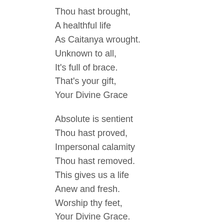Thou hast brought,
A healthful life
As Caitanya wrought.
Unknown to all,
It's full of brace.
That's your gift,
Your Divine Grace
Absolute is sentient
Thou hast proved,
Impersonal calamity
Thou hast removed.
This gives us a life
Anew and fresh.
Worship thy feet,
Your Divine Grace.
Had you not come,
Who had told
The message of Krsna,